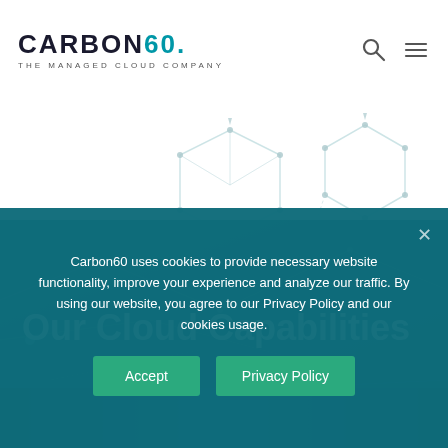[Figure (logo): Carbon60 logo with text 'CARBON60. THE MANAGED CLOUD COMPANY' and search/menu icons in header]
[Figure (illustration): White background section with geometric hexagon/cube wireframe shapes connected by dotted lines forming a network pattern]
[Figure (illustration): Teal/dark blue gradient background with network node and connection line pattern overlay]
Our Cloud Capabilities
Carbon60 uses cookies to provide necessary website functionality, improve your experience and analyze our traffic. By using our website, you agree to our Privacy Policy and our cookies usage.